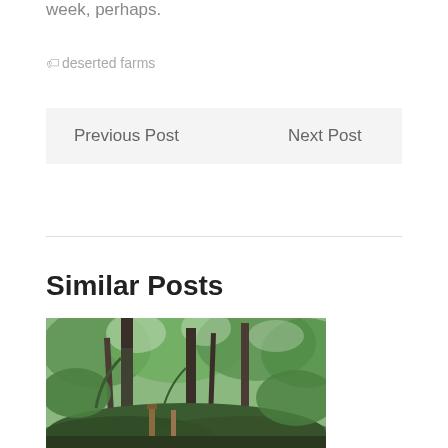week, perhaps.
deserted farms
Previous Post
Next Post
Similar Posts
[Figure (photo): A forest scene with tall trees, green foliage, and a small wooden fence post visible among lush undergrowth]